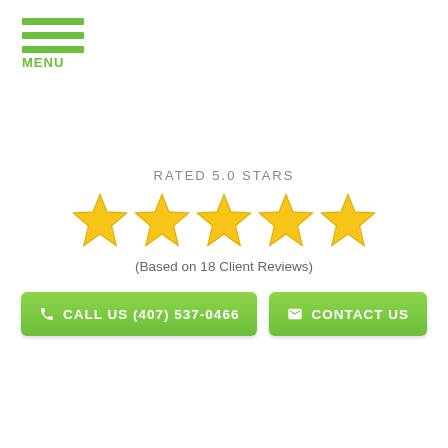[Figure (other): Hamburger menu icon with three green horizontal bars and MENU label in green below]
RATED 5.0 STARS
[Figure (other): Five gold/yellow star rating icons in a row]
(Based on 18 Client Reviews)
CALL US (407) 537-0466
CONTACT US